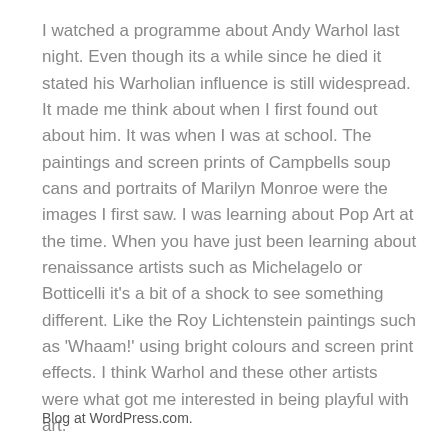I watched a programme about Andy Warhol last night. Even though its a while since he died it stated his Warholian influence is still widespread. It made me think about when I first found out about him. It was when I was at school. The paintings and screen prints of Campbells soup cans and portraits of Marilyn Monroe were the images I first saw. I was learning about Pop Art at the time. When you have just been learning about renaissance artists such as Michelagelo or Botticelli it's a bit of a shock to see something different. Like the Roy Lichtenstein paintings such as 'Whaam!' using bright colours and screen print effects. I think Warhol and these other artists were what got me interested in being playful with art.
Blog at WordPress.com.